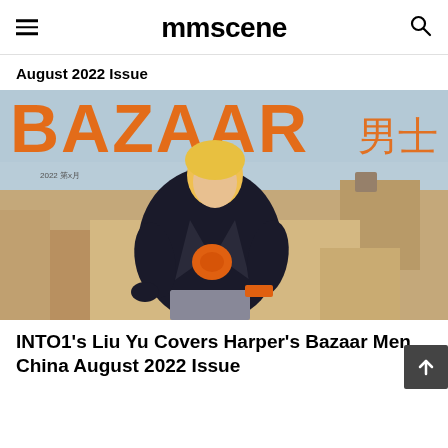mmscene
August 2022 Issue
[Figure (photo): Magazine cover of Harper's Bazaar Men China August 2022 featuring INTO1's Liu Yu — a young man with blonde hair wearing a black leather jacket over an orange patterned shirt and grey checked trousers, sitting on a rooftop with a sandy cityscape background. Large orange BAZAAR text visible at top.]
INTO1's Liu Yu Covers Harper's Bazaar Men China August 2022 Issue